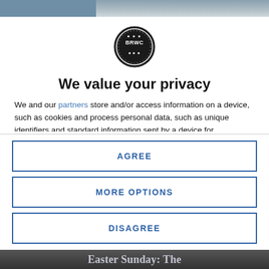[Figure (screenshot): Top image strip showing partial photo behind privacy modal]
[Figure (logo): BRWC circular logo badge in black and white]
We value your privacy
We and our partners store and/or access information on a device, such as cookies and process personal data, such as unique identifiers and standard information sent by a device for personalised ads and content, ad and content measurement, and audience insights, as well as to develop and improve products. With your permission we and our partners may use precise geolocation data and identification through
AGREE
MORE OPTIONS
DISAGREE
[Figure (screenshot): Bottom image strip showing partial text 'Easter Sunday: The']